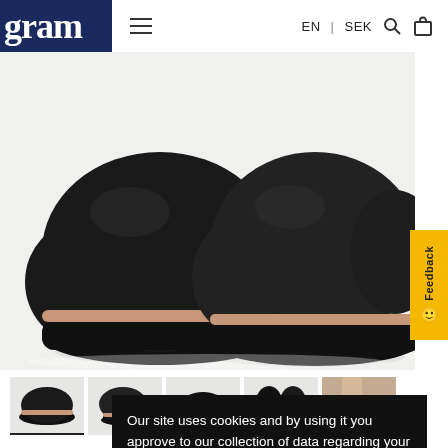gram | EN | SEK
[Figure (photo): Close-up top-down view of black leather slip-on loafers with thick black platform sole and tan/nude welt accent strip, on white background]
[Figure (photo): Row of 5 product thumbnail images: side view, 3/4 view, sole view, top-down view, and lifestyle/context photo of the Gram 242g black loafer]
Gram 242g bl
Sold Out
Our site uses cookies and by using it you approve to our collection of data regarding your visit. To learn more click here.

I accept